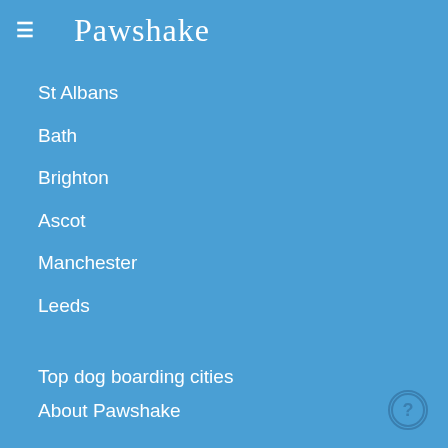≡  Pawshake
St Albans
Bath
Brighton
Ascot
Manchester
Leeds
Top dog boarding cities
About Pawshake